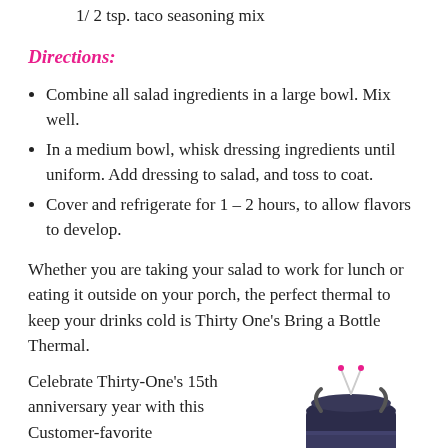1/2 tsp. taco seasoning mix
Directions:
Combine all salad ingredients in a large bowl. Mix well.
In a medium bowl, whisk dressing ingredients until uniform. Add dressing to salad, and toss to coat.
Cover and refrigerate for 1 – 2 hours, to allow flavors to develop.
Whether you are taking your salad to work for lunch or eating it outside on your porch, the perfect thermal to keep your drinks cold is Thirty One's Bring a Bottle Thermal.
Celebrate Thirty-One's 15th anniversary year with this Customer-favorite
[Figure (photo): Thirty One Bring a Bottle Thermal product photo showing a dark navy/black cylindrical bottle bag with drawstring closure]